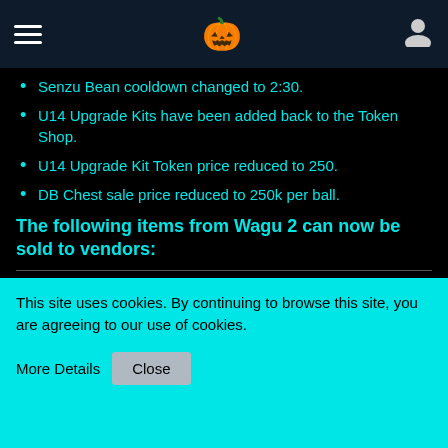Navigation bar with hamburger menu, smiley emoji, and user icon
Senzu Bean cooldown changed to 2:30.
U14 Upgrade Kits have been added back to the Token Shop.
U14 Upgrade Kit Token price reduced to 250.
DB Chest sale price reduced to 250k per ball.
The following items from Wagu 2 can now be sold to vendors:
| Item | Sales Price |
| --- | --- |
| HL Life/Magic Pills | 10k |
| Chill Items | 10k |
This site uses cookies. By continuing to browse this site, you are agreeing to our use of cookies.